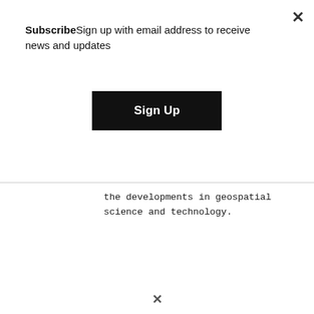SubscribeSign up with email address to receive news and updates
[Figure (other): Black 'Sign Up' button]
the developments in geospatial science and technology.